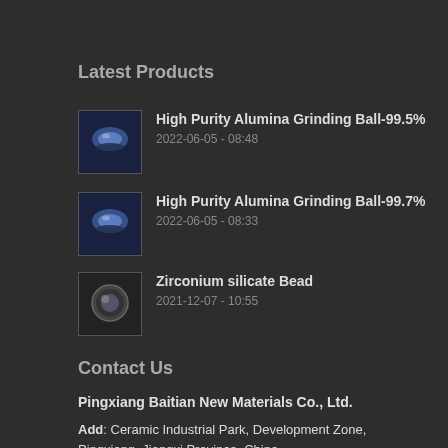Latest Products
High Purity Alumina Grinding Ball-99.5%
2022-06-05 - 08:48
High Purity Alumina Grinding Ball-99.7%
2022-06-05 - 08:33
Zirconium silicate Bead
2021-12-07 - 10:55
Contact Us
Pingxiang Baitian New Materials Co., Ltd.
Add: Ceramic Industrial Park, Development Zone, Pingxiang, Jiangxi Province, China